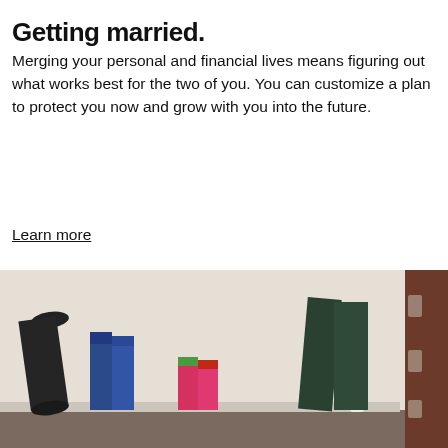Getting married.
Merging your personal and financial lives means figuring out what works best for the two of you. You can customize a plan to protect you now and grow with you into the future.
Learn more
[Figure (photo): Photo of a home entryway showing a rolled yoga mat, pairs of blue adult rubber boots, small pink children's wellies with green rims, tall dark green hunter-style boots, a white newel post, and a dark wooden door on the right side.]